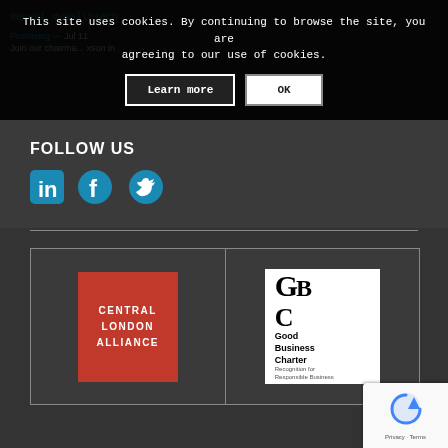#event #wealthtech
This site uses cookies. By continuing to browse the site, you are agreeing to our use of cookies.
Learn more
OK
Promising - Jul 11
Join our chairma... xson in
FOLLOW US
[Figure (logo): LinkedIn icon - blue square with 'in' text]
[Figure (logo): Facebook icon - blue circle with 'f']
[Figure (logo): Twitter icon - blue bird]
[Figure (logo): Central London Alliance logo - red square with white text]
[Figure (logo): Good Business Charter logo - GBC letters with subtitle 'Recognition for Responsible Business']
[Figure (logo): reCAPTCHA badge with Privacy and Terms text]